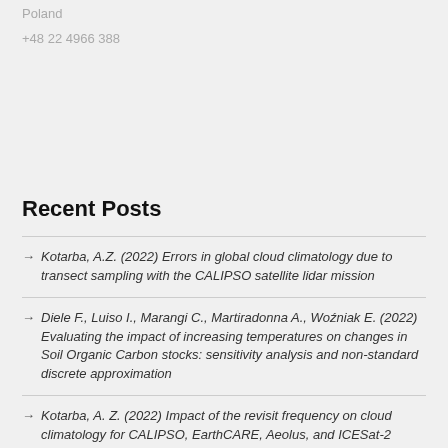Poland
+48 22 4966 388
Recent Posts
Kotarba, A.Z. (2022) Errors in global cloud climatology due to transect sampling with the CALIPSO satellite lidar mission
Diele F., Luiso I., Marangi C., Martiradonna A., Woźniak E. (2022) Evaluating the impact of increasing temperatures on changes in Soil Organic Carbon stocks: sensitivity analysis and non-standard discrete approximation
Kotarba, A. Z. (2022) Impact of the revisit frequency on cloud climatology for CALIPSO, EarthCARE, Aeolus, and ICESat-2